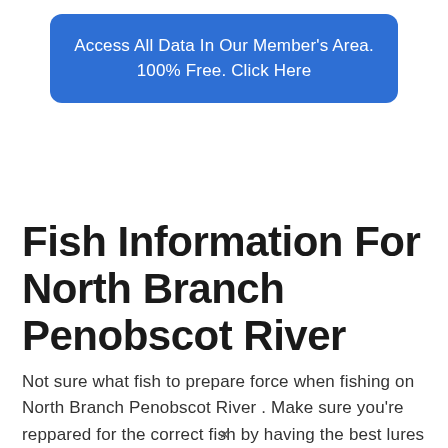Access All Data In Our Member's Area. 100% Free. Click Here
Fish Information For North Branch Penobscot River
Not sure what fish to prepare force when fishing on North Branch Penobscot River . Make sure you're reppared for the correct fish by having the best lures and bait for the